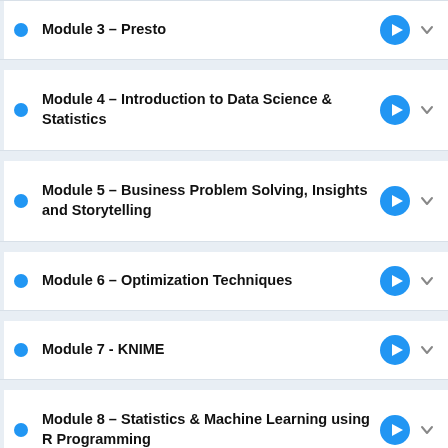Module 3 – Presto
Module 4 – Introduction to Data Science & Statistics
Module 5 – Business Problem Solving, Insights and Storytelling
Module 6 – Optimization Techniques
Module 7 - KNIME
Module 8 – Statistics & Machine Learning using R Programming
Module 9 – Predictive Modeling